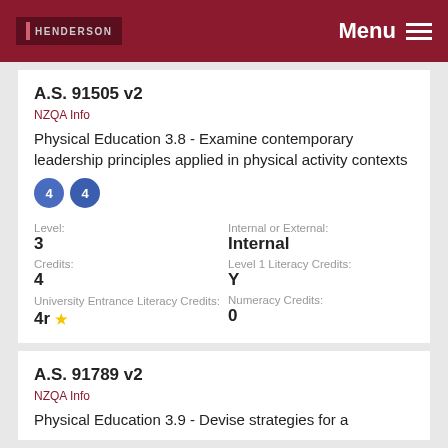HENDERSON Menu
A.S. 91505 v2
NZQA Info
Physical Education 3.8 - Examine contemporary leadership principles applied in physical activity contexts
Level: 3
Internal or External: Internal
Credits: 4
Level 1 Literacy Credits: Y
University Entrance Literacy Credits: 4r ★
Numeracy Credits: 0
A.S. 91789 v2
NZQA Info
Physical Education 3.9 - Devise strategies for a